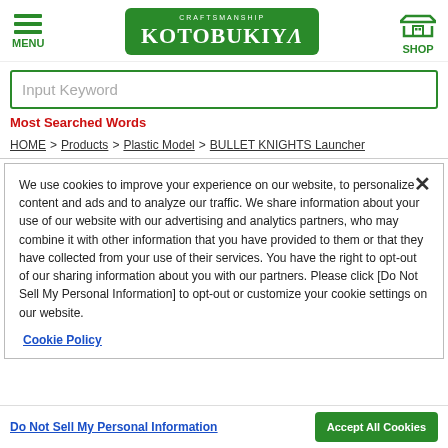[Figure (logo): Kotobukiya logo - green rounded rectangle with white text reading CRAFTSMANSHIP KOTOBUKIYA]
Input Keyword
Most Searched Words
HOME > Products > Plastic Model > BULLET KNIGHTS Launcher
We use cookies to improve your experience on our website, to personalize content and ads and to analyze our traffic. We share information about your use of our website with our advertising and analytics partners, who may combine it with other information that you have provided to them or that they have collected from your use of their services. You have the right to opt-out of our sharing information about you with our partners. Please click [Do Not Sell My Personal Information] to opt-out or customize your cookie settings on our website.
Cookie Policy
Do Not Sell My Personal Information
Accept All Cookies